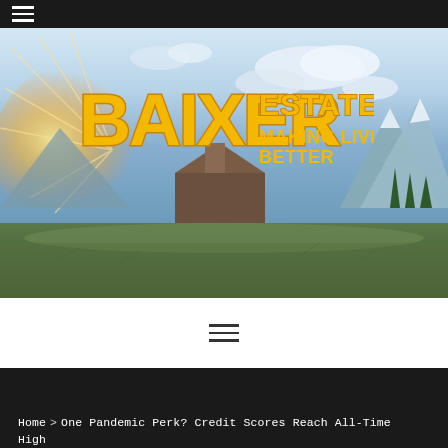☰ (navigation menu)
[Figure (logo): Baixer Estate logo — text 'BAIXER ESTATE / MAKING LIVING BETTER' in yellow distressed font over a scenic landscape/barn photo with mountains and sky background]
[Figure (other): Hamburger menu icon (three horizontal lines) centered in white navigation bar]
Home > One Pandemic Perk? Credit Scores Reach All-Time High